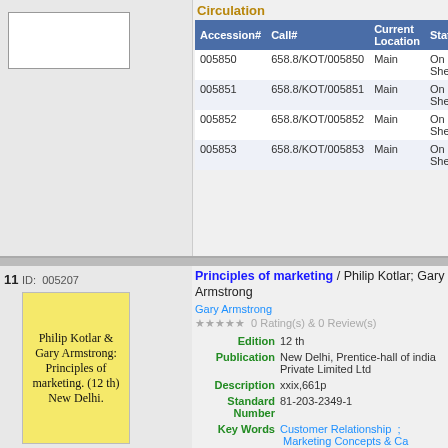| Accession# | Call# | Current Location | Status |
| --- | --- | --- | --- |
| 005850 | 658.8/KOT/005850 | Main | On Shelf |
| 005851 | 658.8/KOT/005851 | Main | On Shelf |
| 005852 | 658.8/KOT/005852 | Main | On Shelf |
| 005853 | 658.8/KOT/005853 | Main | On Shelf |
11   ID:  005207
[Figure (illustration): Book cover label: Philip Kotlar & Gary Armstrong: Principles of marketing. (12 th) New Delhi.]
[Figure (other): QR code for the book entry]
Principles of marketing / Philip Kotlar; Gary Armstrong
Gary Armstrong
0 Rating(s) & 0 Review(s)
| Edition | 12 th |
| Publication | New Delhi, Prentice-hall of india Private Limited Ltd |
| Description | xxix,661p |
| Standard Number | 81-203-2349-1 |
| Key Words | Customer Relationship ; Marketing Concepts & Ca Marketing story ; Business Application |
Reserve
Circulation
| Accession# | Call# | Current Location | Status |
| --- | --- | --- | --- |
| 007973 | 658.8/PHI/007973 | Main | On Shelf |